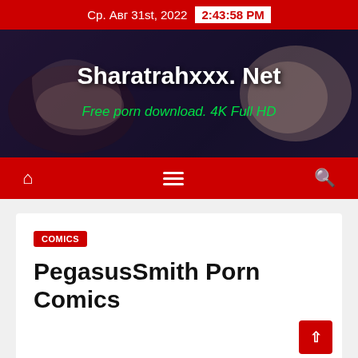Ср. Авг 31st, 2022  2:43:58 PM
[Figure (illustration): Website banner for Sharatrahxxx.Net with dark background showing illustrated/artistic figure, white bold site title and green subtitle text]
Sharatrahxxx. Net
Free porn download. 4K Full HD
Navigation bar with home icon, hamburger menu, and search icon
COMICS
PegasusSmith Porn Comics